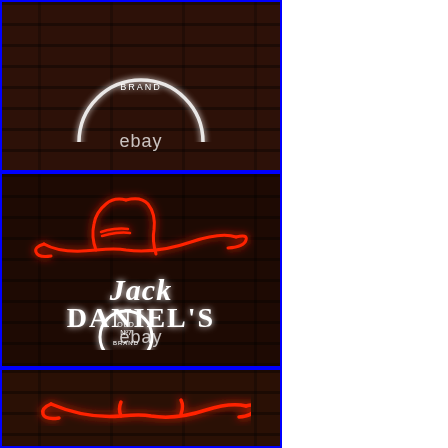[Figure (photo): Top panel: Jack Daniel's Old No. 7 neon sign (partial, showing circular logo) on a brick wall background, with 'ebay' watermark text]
[Figure (photo): Middle panel: Full Jack Daniel's neon sign showing red cowboy hat above white 'Jack Daniel's' lettering and white circular Old No. 7 Brand logo, mounted on brick wall background, with 'ebay' watermark text]
[Figure (photo): Bottom panel: Partial view of Jack Daniel's neon sign showing bottom of red cowboy hat neon on brick wall background]